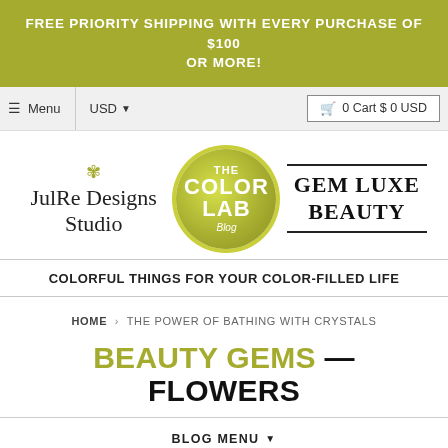FREE PRIORITY SHIPPING WITH EVERY PURCHASE OF $100 OR MORE!
Menu  USD  0 Cart $ 0 USD
[Figure (logo): JulRe Designs Studio logo with leaf icon]
[Figure (logo): The Color Lab Blog circular logo with olive green gradient]
[Figure (logo): Gem Luxe Beauty logo with double underline]
COLORFUL THINGS FOR YOUR COLOR-FILLED LIFE
HOME › THE POWER OF BATHING WITH CRYSTALS
BEAUTY GEMS — FLOWERS
BLOG MENU ▼